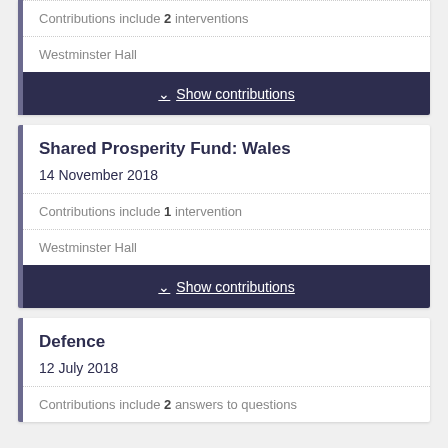Contributions include 2 interventions
Westminster Hall
Show contributions
Shared Prosperity Fund: Wales
14 November 2018
Contributions include 1 intervention
Westminster Hall
Show contributions
Defence
12 July 2018
Contributions include 2 answers to questions